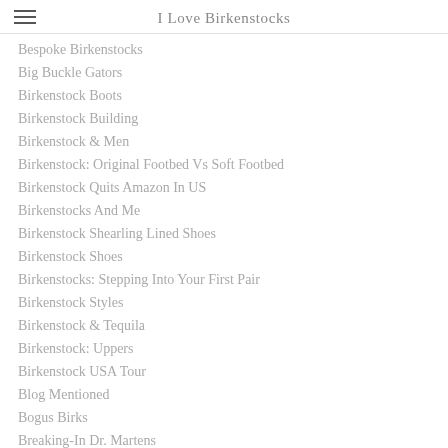I Love Birkenstocks
Bespoke Birkenstocks
Big Buckle Gators
Birkenstock Boots
Birkenstock Building
Birkenstock & Men
Birkenstock: Original Footbed Vs Soft Footbed
Birkenstock Quits Amazon In US
Birkenstocks And Me
Birkenstock Shearling Lined Shoes
Birkenstock Shoes
Birkenstocks: Stepping Into Your First Pair
Birkenstock Styles
Birkenstock & Tequila
Birkenstock: Uppers
Birkenstock USA Tour
Blog Mentioned
Bogus Birks
Breaking-In Dr. Martens